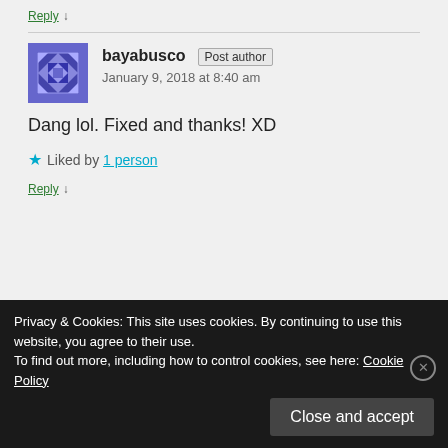Reply ↓
bayabusco Post author
January 9, 2018 at 8:40 am
Dang lol. Fixed and thanks! XD
★ Liked by 1 person
Reply ↓
Privacy & Cookies: This site uses cookies. By continuing to use this website, you agree to their use.
To find out more, including how to control cookies, see here: Cookie Policy